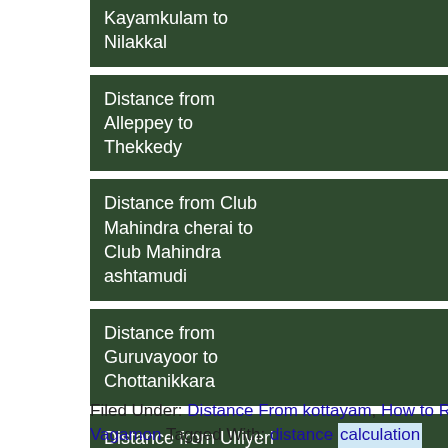Kayamkulam to Nilakkal
Distance from Alleppey to Thekkedy
Distance from Club Mahindra cherai to Club Mahindra ashtamudi
Distance from Guruvayoor to Chottanikkara
Distance from Ulliyeri to Calicut airport
Filed Under: Distance From kottayam, How to Reach vagamon, Kottayam, Vagamon Tagged With: distance calculation